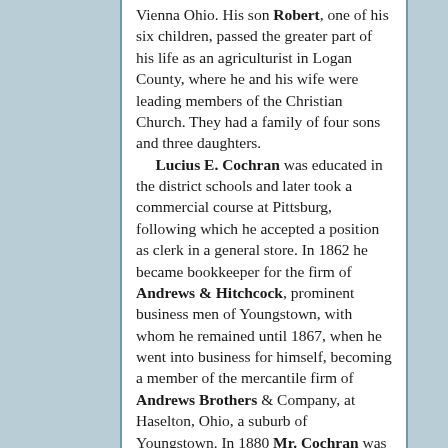Vienna Ohio. His son Robert, one of his six children, passed the greater part of his life as an agriculturist in Logan County, where he and his wife were leading members of the Christian Church. They had a family of four sons and three daughters.
    Lucius E. Cochran was educated in the district schools and later took a commercial course at Pittsburg, following which he accepted a position as clerk in a general store. In 1862 he became bookkeeper for the firm of Andrews & Hitchcock, prominent business men of Youngstown, with whom he remained until 1867, when he went into business for himself, becoming a member of the mercantile firm of Andrews Brothers & Company, at Haselton, Ohio, a suburb of Youngstown. In 1880 Mr. Cochran was elected president and treasurer of a large